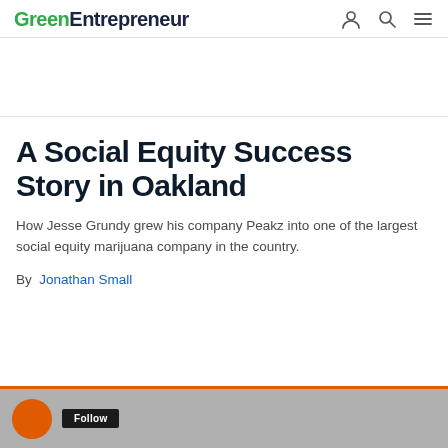GreenEntrepreneur
A Social Equity Success Story in Oakland
How Jesse Grundy grew his company Peakz into one of the largest social equity marijuana company in the country.
By Jonathan Small
[Figure (screenshot): Bottom media strip with orange circle icon and dark label button on grey background, with orange top border]